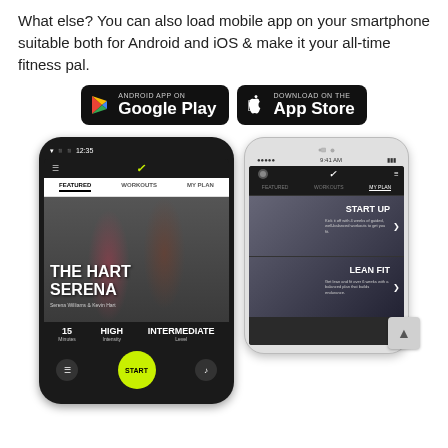What else? You can also load mobile app on your smartphone suitable both for Android and iOS & make it your all-time fitness pal.
[Figure (screenshot): Google Play Store badge (Android App on Google Play) and Apple App Store badge (Download on the App Store)]
[Figure (screenshot): Two smartphone screenshots showing a fitness app (Nike Training Club): an Android phone showing 'THE HART SERENA' featured workout with Serena Williams & Kevin Hart, 15 Minutes, HIGH Intensity, INTERMEDIATE Level, with START button; and an iPhone showing MY PLAN tab with START UP and LEAN FIT workout cards]